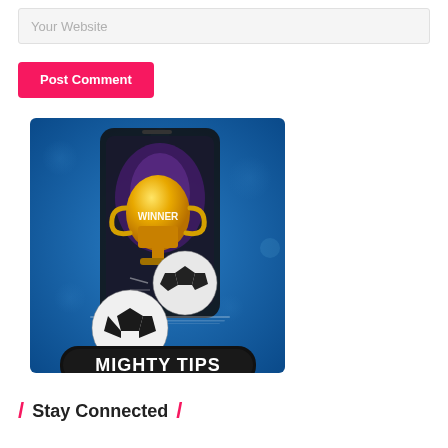Your Website
Post Comment
[Figure (illustration): Mighty Tips promotional image: a smartphone with a golden winner trophy and soccer ball bursting out of the screen, on a blue bokeh background, with 'MIGHTY TIPS' text in a black rounded badge at the bottom.]
/ Stay Connected /